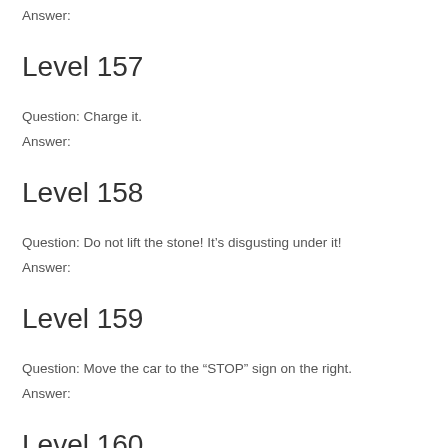Answer:
Level 157
Question: Charge it.
Answer:
Level 158
Question: Do not lift the stone! It’s disgusting under it!
Answer:
Level 159
Question: Move the car to the “STOP” sign on the right.
Answer:
Level 160